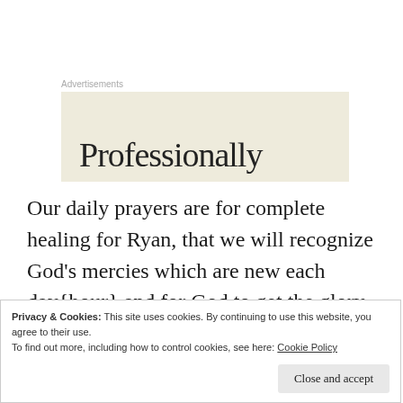Advertisements
[Figure (other): Advertisement banner with beige background showing partial text 'Professionally']
Our daily prayers are for complete healing for Ryan, that we will recognize God’s mercies which are new each day{hour} and for God to get the glory through this process as we recognize those around us will witness our suffering through this “storm.”Our hope is
Privacy & Cookies: This site uses cookies. By continuing to use this website, you agree to their use.
To find out more, including how to control cookies, see here: Cookie Policy
Close and accept